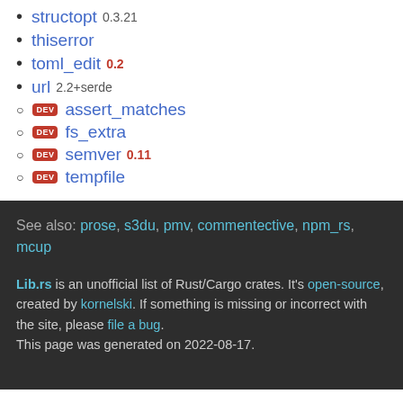structopt 0.3.21
thiserror
toml_edit 0.2
url 2.2+serde
DEV assert_matches
DEV fs_extra
DEV semver 0.11
DEV tempfile
See also: prose, s3du, pmv, commentective, npm_rs, mcup
Lib.rs is an unofficial list of Rust/Cargo crates. It's open-source, created by kornelski. If something is missing or incorrect with the site, please file a bug. This page was generated on 2022-08-17.